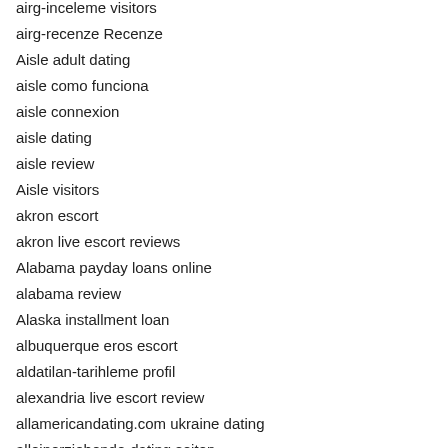airg-inceleme visitors
airg-recenze Recenze
Aisle adult dating
aisle como funciona
aisle connexion
aisle dating
aisle review
Aisle visitors
akron escort
akron live escort reviews
Alabama payday loans online
alabama review
Alaska installment loan
albuquerque eros escort
aldatilan-tarihleme profil
alexandria live escort review
allamericandating.com ukraine dating
alleinerziehende-dating seiten